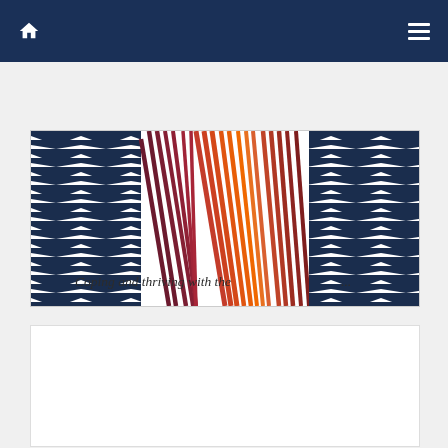Navigation bar with home icon and menu icon
[Figure (illustration): Book cover image showing a chevron/zigzag pattern in dark navy blue and white stripes arranged in columns, with a central gradient area transitioning from dark red/maroon through orange to the center. Text reads 'Coping and thriving with the ...' in italic serif font at the bottom left of the cover.]
[Figure (other): White rectangular card area below the book cover, appears to be a content placeholder or loading area.]